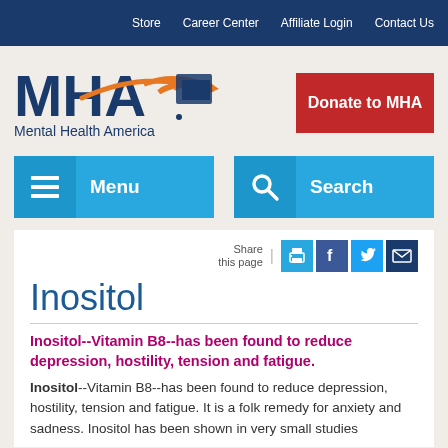Store | Career Center | Affiliate Login | Contact Us
[Figure (logo): Mental Health America (MHA) logo with orange swoosh graphic and blue MHA letters]
Donate to MHA
Menu
Search
Share this page
Inositol
Inositol--Vitamin B8--has been found to reduce depression, hostility, tension and fatigue.
Inositol--Vitamin B8--has been found to reduce depression, hostility, tension and fatigue. It is a folk remedy for anxiety and sadness. Inositol has been shown in very small studies